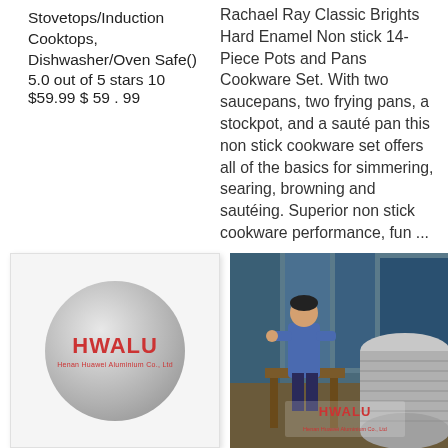Stovetops/Induction Cooktops, Dishwasher/Oven Safe()
5.0 out of 5 stars 10
$59.99 $ 59 . 99
Rachael Ray Classic Brights Hard Enamel Non stick 14-Piece Pots and Pans Cookware Set. With two saucepans, two frying pans, a stockpot, and a sauté pan this non stick cookware set offers all of the basics for simmering, searing, browning and sautéing. Superior non stick cookware performance, fun ...
[Figure (photo): HWALU brand logo on a silver metallic circular disc/lid. Red HWALU text with subtext 'Henan Huawei Aluminium Co., Ltd']
[Figure (photo): Factory scene showing a worker in blue jacket standing next to large stacked aluminium coils/rolls with HWALU logo overlay. Industrial setting with blue walls.]